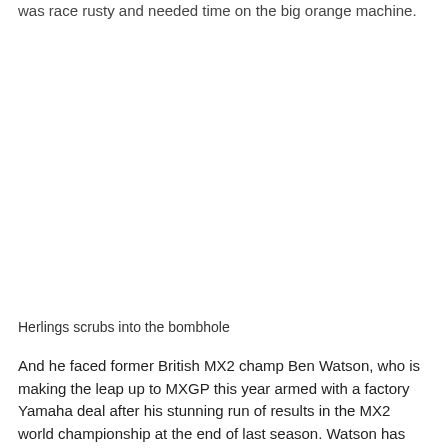was race rusty and needed time on the big orange machine.
Herlings scrubs into the bombhole
And he faced former British MX2 champ Ben Watson, who is making the leap up to MXGP this year armed with a factory Yamaha deal after his stunning run of results in the MX2 world championship at the end of last season. Watson has had some pre-season races but admitted